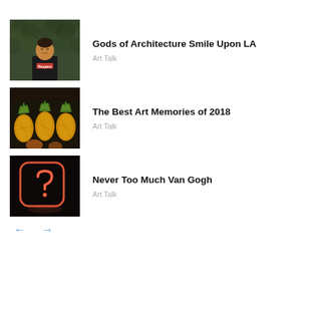Gods of Architecture Smile Upon LA — Art Talk
The Best Art Memories of 2018 — Art Talk
Never Too Much Van Gogh — Art Talk